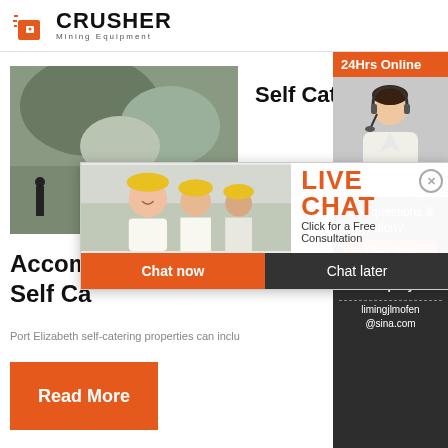[Figure (logo): Crusher Mining Equipment logo with red shopping cart icon and bold black CRUSHER text]
[Figure (photo): Outdoor quarry/mining site photo with rocky terrain and worker]
Self Catering
Accom
Self Ca
Port Elizabeth self-catering properties can inclu
[Figure (other): Live Chat overlay popup with workers in hard hats, LIVE CHAT heading, Click for a Free Consultation text, Chat now and Chat later buttons]
[Figure (other): Right sidebar with 24Hrs Online banner, customer service representative photo with headset, Need questions & suggestion text, Chat Now button, Enquiry link, email limingjlmofen@sina.com]
Read More